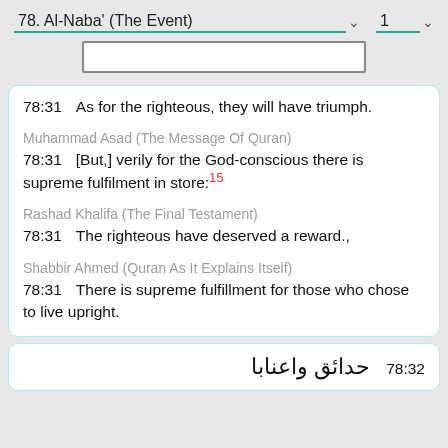78. Al-Naba' (The Event)  1
78:31   As for the righteous, they will have triumph.
Muhammad Asad (The Message Of Quran)
78:31   [But,] verily for the God-conscious there is supreme fulfilment in store:15
Rashad Khalifa (The Final Testament)
78:31   The righteous have deserved a reward.,
Shabbir Ahmed (Quran As It Explains Itself)
78:31   There is supreme fulfillment for those who chose to live upright.
78:32 حدائق واعنابا